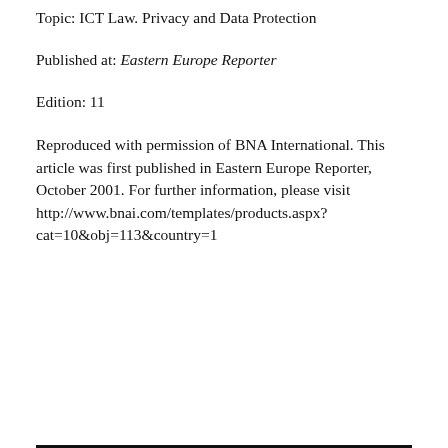Topic: ICT Law. Privacy and Data Protection
Published at: Eastern Europe Reporter
Edition: 11
Reproduced with permission of BNA International. This article was first published in Eastern Europe Reporter, October 2001. For further information, please visit http://www.bnai.com/templates/products.aspx?cat=10&obj=113&country=1